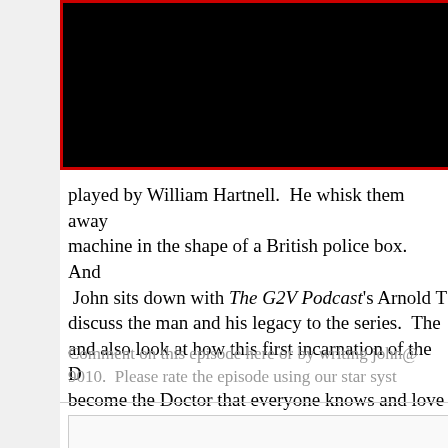[Figure (photo): Black rectangle with red border representing a video/image thumbnail, partially visible on left side of page]
the ann monthly where i Totters out the they me played by William Hartnell.  He whisk them away machine in the shape of a British police box.  And John sits down with The G2V Podcast's Arnold T discuss the man and his legacy to the series.  The and also look at how this first incarnation of the D become the Doctor that everyone knows and love
Comment on this episode here or by writing john@ 9010.  Please rate the episode using our star syst